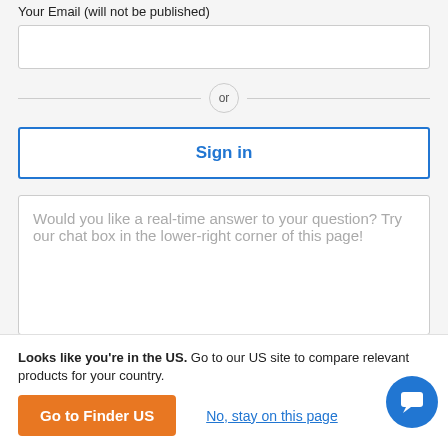Your Email (will not be published)
or
Sign in
Would you like a real-time answer to your question? Try our chat box in the lower-right corner of this page!
Looks like you're in the US. Go to our US site to compare relevant products for your country.
Go to Finder US
No, stay on this page